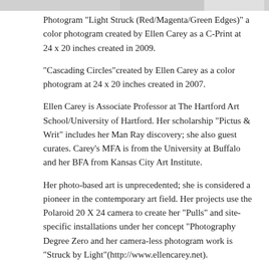Photogram "Light Struck (Red/Magenta/Green Edges)" a color photogram created by Ellen Carey as a C-Print at 24 x 20 inches created in 2009.
"Cascading Circles"created by Ellen Carey as a color photogram at 24 x 20 inches created in 2007.
Ellen Carey is Associate Professor at The Hartford Art School/University of Hartford. Her scholarship "Pictus & Writ" includes her Man Ray discovery; she also guest curates. Carey's MFA is from the University at Buffalo and her BFA from Kansas City Art Institute.
Her photo-based art is unprecedented; she is considered a pioneer in the contemporary art field. Her projects use the Polaroid 20 X 24 camera to create her "Pulls" and site-specific installations under her concept "Photography Degree Zero and her camera-less photogram work is "Struck by Light"(http://www.ellencarey.net).
Her artworks are the subject of 50 one-person exhibitions in museums, alternative spaces, galleries such as The Wadsworth Atheneum Museum of Art (MATRIX#153), Real Art Ways ("Mourning Wall") and ICP/NY; also in hundreds of group exhibits. Currently, a new color photogram